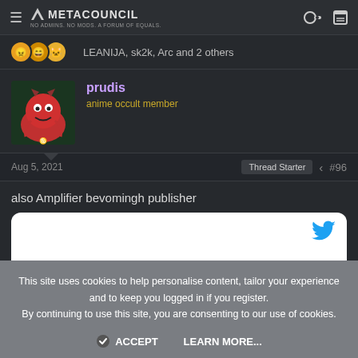METACOUNCIL — No Admins. No Mods. A Forum of Equals.
LEANIJA, sk2k, Arc and 2 others
prudis — anime occult member
Aug 5, 2021  Thread Starter  #96
also Amplifier bevomingh publisher
[Figure (screenshot): Embedded Twitter/X tweet card (white rounded box with blue Twitter bird icon)]
This site uses cookies to help personalise content, tailor your experience and to keep you logged in if you register.
By continuing to use this site, you are consenting to our use of cookies.
ACCEPT   LEARN MORE...